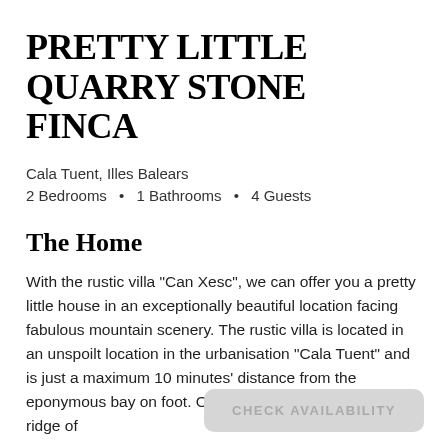PRETTY LITTLE QUARRY STONE FINCA
Cala Tuent, Illes Balears
2 Bedrooms • 1 Bathrooms • 4 Guests
The Home
With the rustic villa "Can Xesc", we can offer you a pretty little house in an exceptionally beautiful location facing fabulous mountain scenery. The rustic villa is located in an unspoilt location in the urbanisation "Cala Tuent" and is just a maximum 10 minutes' distance from the eponymous bay on foot. Only a few houses stand on the ridge of…